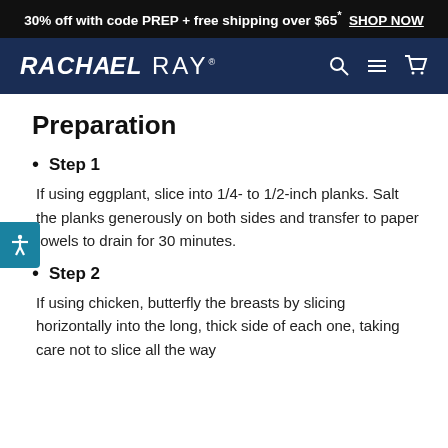30% off with code PREP + free shipping over $65* SHOP NOW
[Figure (logo): Rachael Ray logo with navigation icons (search, menu, cart) on dark blue navbar]
Preparation
Step 1
If using eggplant, slice into 1/4- to 1/2-inch planks. Salt the planks generously on both sides and transfer to paper towels to drain for 30 minutes.
Step 2
If using chicken, butterfly the breasts by slicing horizontally into the long, thick side of each one, taking care not to slice all the way